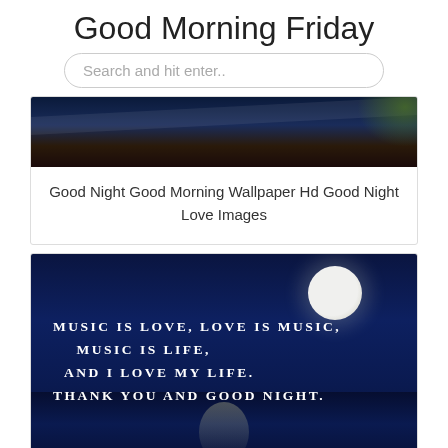Good Morning Friday
Search and hit enter..
[Figure (photo): Dark night ocean/lake scene with reddish shoreline and green foliage in top right corner]
Good Night Good Morning Wallpaper Hd Good Night Love Images
[Figure (photo): Night sky scene with full moon over ocean water with reflection, containing white text quote: MUSIC IS LOVE, LOVE IS MUSIC, MUSIC IS LIFE, AND I LOVE MY LIFE, THANK YOU AND GOOD NIGHT.]
Good Night Wallpapers Hd With Quotes And Wishes Good